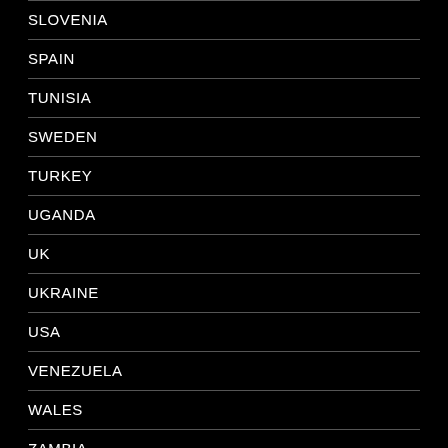SLOVENIA
SPAIN
TUNISIA
SWEDEN
TURKEY
UGANDA
UK
UKRAINE
USA
VENEZUELA
WALES
ZAMBIA